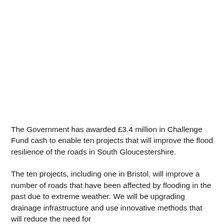The Government has awarded £3.4 million in Challenge Fund cash to enable ten projects that will improve the flood resilience of the roads in South Gloucestershire.
The ten projects, including one in Bristol, will improve a number of roads that have been affected by flooding in the past due to extreme weather. We will be upgrading drainage infrastructure and use innovative methods that will reduce the need for